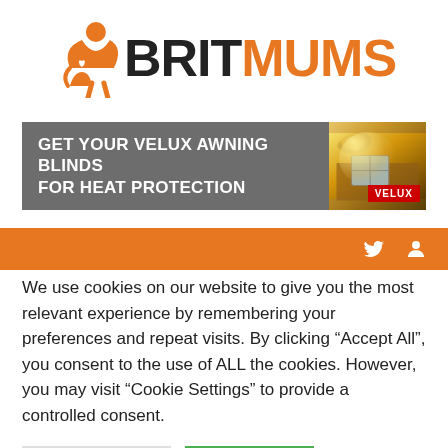[Figure (logo): BritMums logo with orange parent-child icon and bold text BRIT in black, MUMS in orange]
[Figure (infographic): VELUX advertisement banner: 'GET YOUR VELUX AWNING BLINDS FOR HEAT PROTECTION' on grey background with skylight/roof photo and red VELUX badge]
[Figure (infographic): Orange navigation bar with social media icons (Twitter bird and user/search icon) on the right]
We use cookies on our website to give you the most relevant experience by remembering your preferences and repeat visits. By clicking "Accept All", you consent to the use of ALL the cookies. However, you may visit "Cookie Settings" to provide a controlled consent.
Cookie Settings | Accept All